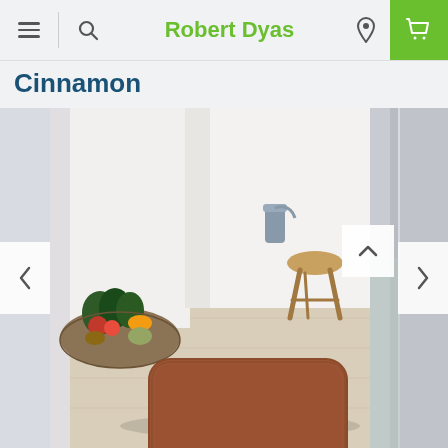Robert Dyas
Cinnamon
[Figure (photo): A cinnamon-colored rectangular floor mat placed on light wood flooring in a modern open-plan kitchen/living area. In the background there is a basket of vegetables including tomatoes and leafy greens on the left, and a wooden folding stool on the right. The room has white walls and light natural wood tones.]